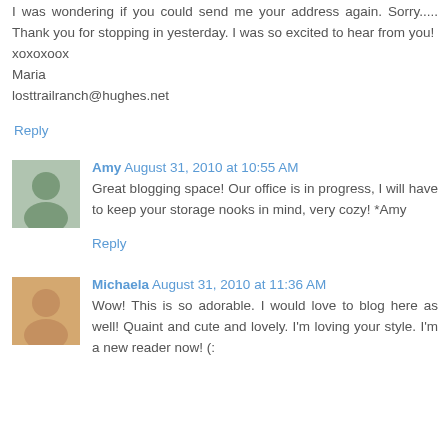I was wondering if you could send me your address again. Sorry..... Thank you for stopping in yesterday. I was so excited to hear from you!
xoxoxoox
Maria
losttrailranch@hughes.net
Reply
Amy  August 31, 2010 at 10:55 AM
Great blogging space! Our office is in progress, I will have to keep your storage nooks in mind, very cozy! *Amy
Reply
Michaela  August 31, 2010 at 11:36 AM
Wow! This is so adorable. I would love to blog here as well! Quaint and cute and lovely. I'm loving your style. I'm a new reader now! (: